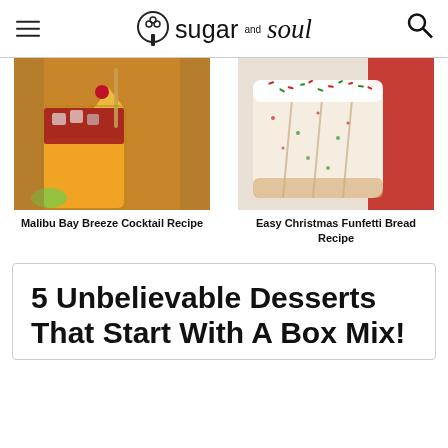sugar and soul
[Figure (photo): Malibu Bay Breeze cocktail with red and orange layers, ice, and tropical garnishes]
Malibu Bay Breeze Cocktail Recipe
[Figure (photo): Sliced Christmas Funfetti bread with white frosting and colorful red and green sprinkles]
Easy Christmas Funfetti Bread Recipe
5 Unbelievable Desserts That Start With A Box Mix!